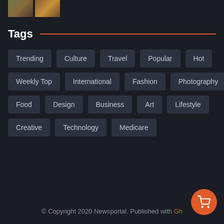[Figure (photo): Two small thumbnail images at the top left corner]
Tags
Trending
Culture
Travel
Popular
Hot
Weekly Top
International
Fashion
Photography
Food
Design
Business
Art
Lifestyle
Creative
Technology
Medicare
© Copyright 2020 Newsportal. Published with Gh